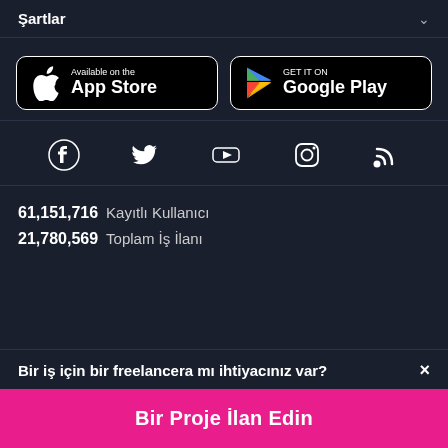Şartlar
[Figure (logo): App Store and Google Play store download buttons]
[Figure (infographic): Social media icons: Facebook, Twitter, YouTube, Instagram, RSS]
61,151,716  Kayıtlı Kullanıcı
21,780,569  Toplam İş İlanı
Bir iş için bir freelancera mı ihtiyacınız var?  ×
Bir Proje İlan Edin